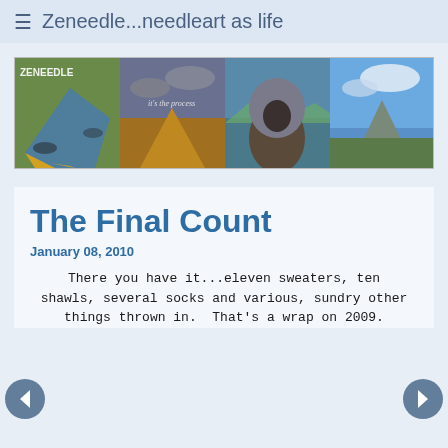≡  Zeneedle...needleart as life
[Figure (photo): Banner with four panels: 1) Person holding up a blue and yellow crocheted shawl, labeled ZENEEDLE; 2) Dramatic sky with golden mountain and text 'it's the process'; 3) Person wearing a hooded brown/grey cowl with a lake and mountains in background; 4) Blue sky with clouds above a forested mountain landscape.]
The Final Count
January 08, 2010
There you have it...eleven sweaters, ten shawls, several socks and various, sundry other things thrown in.  That's a wrap on 2009.